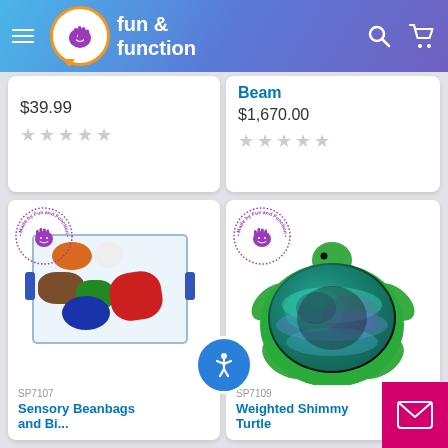[Figure (screenshot): Fun and Function website header with logo, hamburger menu, search and cart icons on a blue-purple gradient background]
$39.99
[Figure (other): Five empty star rating icons]
Beam
$1,670.00
[Figure (other): Five empty star rating icons]
[Figure (photo): Sensory beanbags in a clear plastic container with blue handles, containing orange, white, brown, green, red, blue fabric bags. Made by Fun and Function badge in top left corner.]
SP7107
Sensory Beanbags and Bi...
[Figure (photo): Weighted Shimmery Turtle plush toy with sequin shell in teal/green and green plush body. Made by Fun and Function badge in top left corner.]
SP7109
Weighted Shimmy Turtle